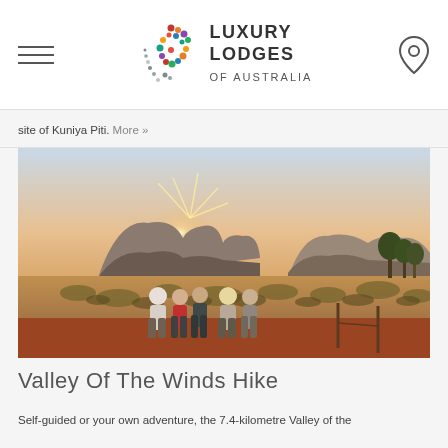LUXURY LODGES OF AUSTRALIA
site of Kuniya Piti. More »
[Figure (photo): Group of people standing in outback Australian landscape at sunset/sunrise with red rock formations (Kata Tjuta / The Olgas) in the background, dry scrubland in foreground, warm golden light]
Valley Of The Winds Hike
Self-guided or your own adventure, the 7.4-kilometre Valley of the